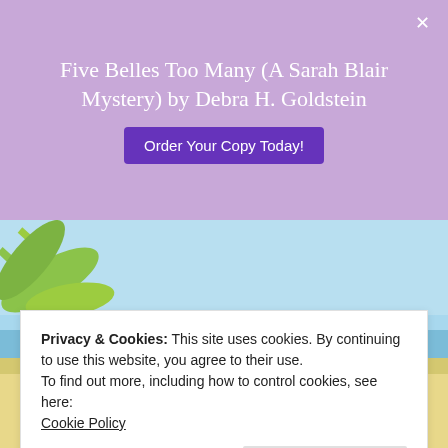Five Belles Too Many (A Sarah Blair Mystery) by Debra H. Goldstein
[Figure (screenshot): Purple banner with book title and Order Your Copy Today button, with a close X button]
[Figure (photo): Book cover for The Fragrance of Death, A Sally Solari Mystery, with beach background showing palm leaves, ocean, and sand]
Privacy & Cookies: This site uses cookies. By continuing to use this website, you agree to their use.
To find out more, including how to control cookies, see here:
Cookie Policy
Close and accept